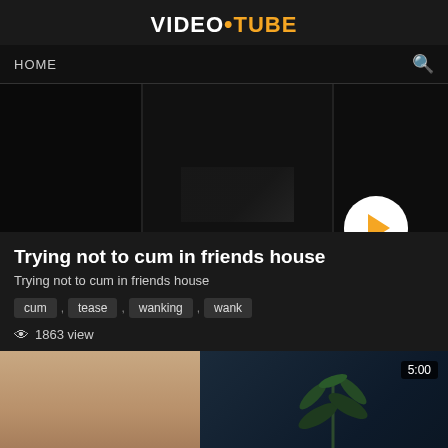VIDEO•TUBE
HOME
[Figure (screenshot): Video player thumbnail showing dark/black frames split into three segments with a white circular play button overlay]
Trying not to cum in friends house
Trying not to cum in friends house
cum , tease , wanking , wank
1863 view
[Figure (screenshot): Video thumbnail showing a person on left side with light skin tone and a woman sitting on a floral chair in a dark blue room with a green plant. Duration badge shows 5:00.]